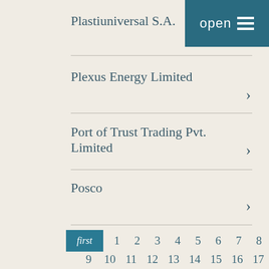Plastiuniversal S.A.
Plexus Energy Limited
Port of Trust Trading Pvt. Limited
Posco
first 1 2 3 4 5 6 7 8 9 10 11 12 13 14 15 16 17 18 19 20 21 22 23 24 25